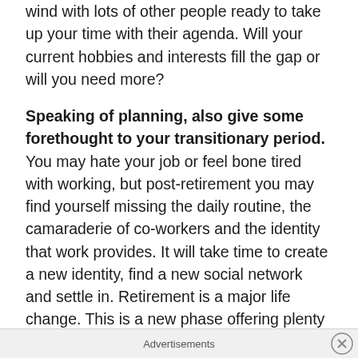wind with lots of other people ready to take up your time with their agenda. Will your current hobbies and interests fill the gap or will you need more?
Speaking of planning, also give some forethought to your transitionary period. You may hate your job or feel bone tired with working, but post-retirement you may find yourself missing the daily routine, the camaraderie of co-workers and the identity that work provides. It will take time to create a new identity, find a new social network and settle in. Retirement is a major life change. This is a new phase offering plenty of opportunity to do what you want to do with your time. However, after 40 or more years in the workplace, there is also a period of grieving. Yes, grieving for your lost identity and the social aspects of work. If your company offers an Employee Assistance
Advertisements